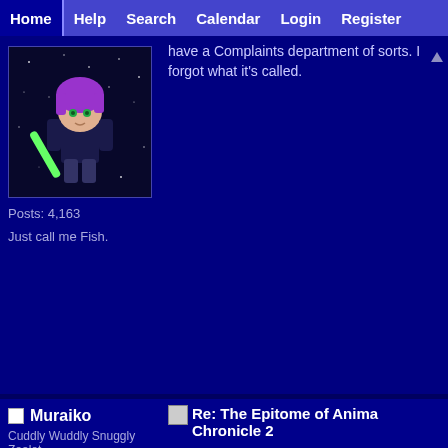Home | Help | Search | Calendar | Login | Register
[Figure (illustration): User avatar: anime-style pixel art character with purple hair holding a green lightsaber against a dark starry background]
Posts: 4,163
Just call me Fish.
have a Complaints department of sorts. I forgot what it's called.
Muraiko
Cuddly Wuddly Snuggly Zealot
[Figure (illustration): Photobucket unavailable image placeholder showing 'Sorry. This Image Is Currently Unavailable' with photobucket logo]
Posts: 606
I'm really 4 years old... born on leap year...
Re: The Epitome of Anima Chronicle 2
« Reply #2 on: September 07, 2008, »
So, did you play it yet? Whatcha well on, and what parts still need
Also, I'd apreciate it if you told m weird, or something does seem n second time playing through my themselves for some reason.
[Figure (screenshot): Partial photobucket sorry image at bottom right, showing 'Sorry.' text]